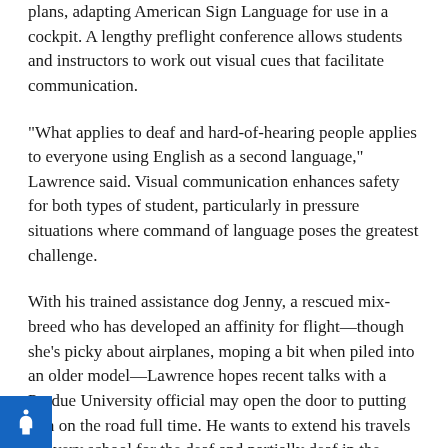plans, adapting American Sign Language for use in a cockpit. A lengthy preflight conference allows students and instructors to work out visual cues that facilitate communication.
"What applies to deaf and hard-of-hearing people applies to everyone using English as a second language," Lawrence said. Visual communication enhances safety for both types of student, particularly in pressure situations where command of language poses the greatest challenge.
With his trained assistance dog Jenny, a rescued mix-breed who has developed an affinity for flight—though she's picky about airplanes, moping a bit when piled into an older model—Lawrence hopes recent talks with a Purdue University official may open the door to putting him on the road full time. He wants to extend his travels to every school for the deaf and partially deaf in the country, and offer them a living